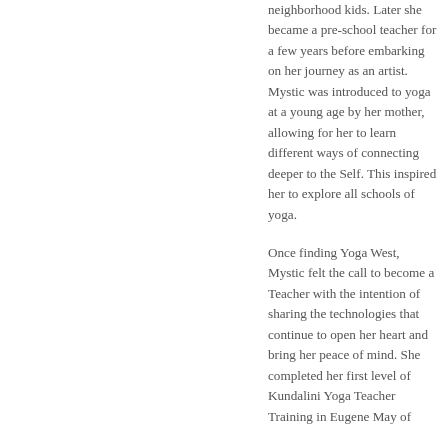neighborhood kids. Later she became a pre-school teacher for a few years before embarking on her journey as an artist.  Mystic was introduced to yoga at a young age by her mother, allowing for her to learn different ways of connecting deeper to the Self. This inspired her to explore all schools of yoga.
Once finding Yoga West, Mystic felt the call to become a Teacher with the intention of sharing the technologies that continue to open her heart and bring her peace of mind. She completed her first level of Kundalini Yoga Teacher Training in Eugene May of